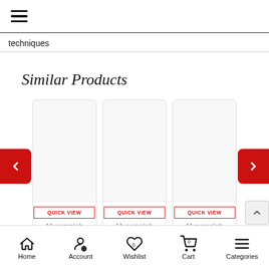hamburger menu icon
techniques
Similar Products
[Figure (screenshot): Three product cards each with empty image area, QUICK VIEW button in red outline, and 'Mycomplab' text below. Left and right red navigation arrows on sides.]
Home  Account  Wishlist  Cart  Categories